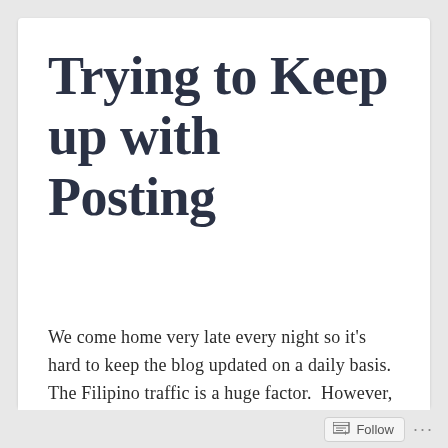Trying to Keep up with Posting
We come home very late every night so it's hard to keep the blog updated on a daily basis.  The Filipino traffic is a huge factor.  However, we all